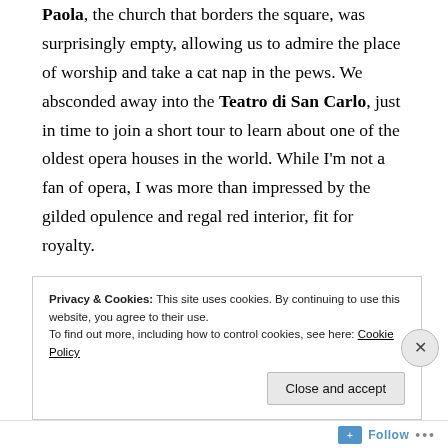Paola, the church that borders the square, was surprisingly empty, allowing us to admire the place of worship and take a cat nap in the pews. We absconded away into the Teatro di San Carlo, just in time to join a short tour to learn about one of the oldest opera houses in the world. While I'm not a fan of opera, I was more than impressed by the gilded opulence and regal red interior, fit for royalty.
[Figure (photo): Photograph showing a blue sky with a cross/spire visible, and the edge of a stone or ochre-coloured building on the right side.]
Privacy & Cookies: This site uses cookies. By continuing to use this website, you agree to their use. To find out more, including how to control cookies, see here: Cookie Policy
Close and accept
Follow ···